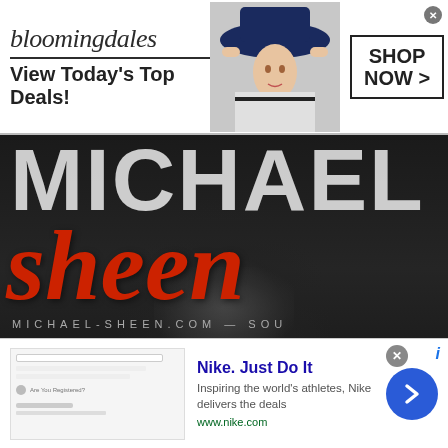[Figure (screenshot): Bloomingdales banner advertisement: logo, 'View Today's Top Deals!', model in hat, 'SHOP NOW >' button]
[Figure (screenshot): Michael-sheen.com website screenshot showing large MICHAEL and sheen text in red italic, domain text MICHAEL-SHEEN.COM, dark background with face silhouette]
MICHAEL SHEEN TO JOIN TEDXSOHO TALK ON MAY 30
[Figure (screenshot): Nike advertisement: 'Nike. Just Do It' title, 'Inspiring the world's athletes, Nike delivers the deals', www.nike.com, with blue arrow button]